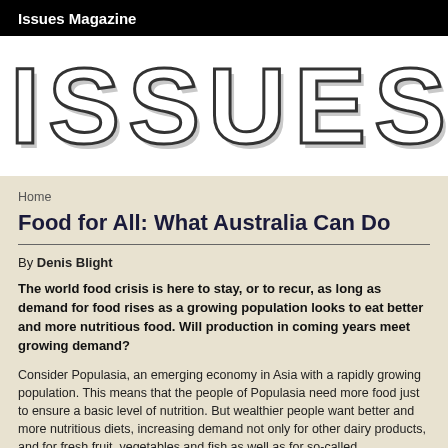Issues Magazine
[Figure (logo): Large stylized text logo reading ISSUES in bold outlined letters with drop shadow on white background]
Home
Food for All: What Australia Can Do
By Denis Blight
The world food crisis is here to stay, or to recur, as long as demand for food rises as a growing population looks to eat better and more nutritious food. Will production in coming years meet growing demand?
Consider Populasia, an emerging economy in Asia with a rapidly growing population. This means that the people of Populasia need more food just to ensure a basic level of nutrition. But wealthier people want better and more nutritious diets, increasing demand not only for meat, milk, other dairy products, and for fresh fruit, vegetables and fish as well as for so-called...